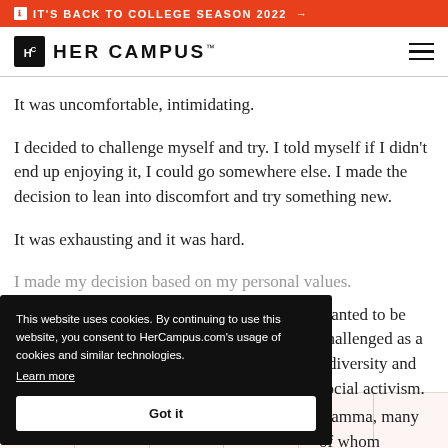IT'S BACK TO COLLEGE SEASON 2022 →
[Figure (logo): Her Campus logo with Hc icon and HER CAMPUS wordmark, plus hamburger menu icon]
It was uncomfortable, intimidating.
I decided to challenge myself and try. I told myself if I didn't end up enjoying it, I could go somewhere else. I made the decision to lean into discomfort and try something new.
It was exhausting and it was hard.
I made my decision based on my personal values.
...wanted to be challenged as a [person who values] diversity and social activism.
...Gamma, many of whom
This website uses cookies. By continuing to use this website, you consent to HerCampus.com's usage of cookies and similar technologies.
Learn more
Got it